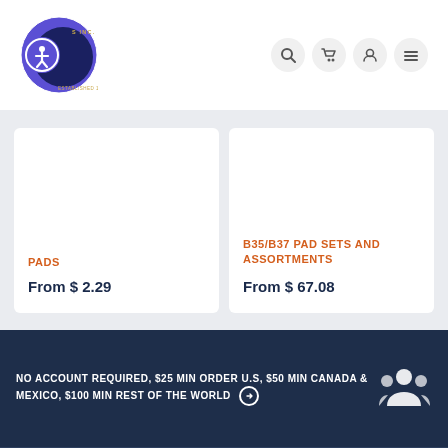[Figure (logo): Company logo circle with accessibility icon overlay, dark blue circular logo with 'S INC. ESTABLISHED 1940' text]
[Figure (infographic): Navigation icons: search, cart, account, menu (hamburger)]
PADS
From $ 2.29
B35/B37 PAD SETS AND ASSORTMENTS
From $ 67.08
NO ACCOUNT REQUIRED, $25 MIN ORDER U.S, $50 MIN CANADA & MEXICO, $100 MIN REST OF THE WORLD ➤
[Figure (illustration): White icon of group of people/accounts on dark blue background]
$5 SHIPPING U.S, $10 CANADA & MEXICO, $20 REST OF THE WORLD. READ OUR SHIPPING POLICIES.
[Figure (illustration): White delivery truck icon on dark blue background]